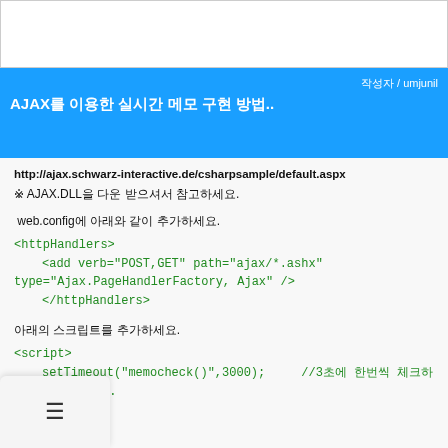[Figure (photo): Partial image visible at top of page, appears to be a product or illustration on white background]
작성자 / umjunil
AJAX를 이용한 실시간 메모 구현 방법..
http://ajax.schwarz-interactive.de/csharpsample/default.aspx
※ AJAX.DLL을 다운 받으셔서 참고하세요.
web.config에 아래와 같이 추가하세요.
<httpHandlers>
    <add verb="POST,GET" path="ajax/*.ashx"
type="Ajax.PageHandlerFactory, Ajax" />
    </httpHandlers>
아래의 스크립트를 추가하세요.
<script>
    setTimeout("memocheck()",3000);     //3초에 한번씩 체크하도록 합니다.